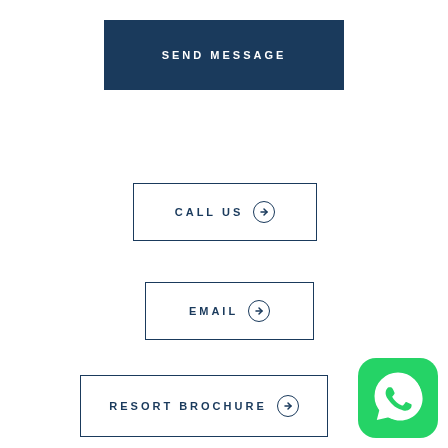SEND MESSAGE
CALL US →
EMAIL →
RESORT BROCHURE →
[Figure (logo): WhatsApp green app icon with white phone handset in speech bubble, rounded square]